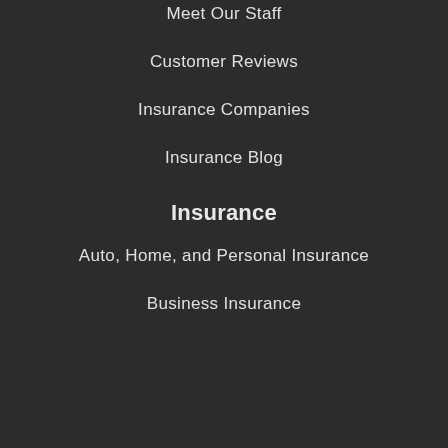Meet Our Staff
Customer Reviews
Insurance Companies
Insurance Blog
Insurance
Auto, Home, and Personal Insurance
Business Insurance